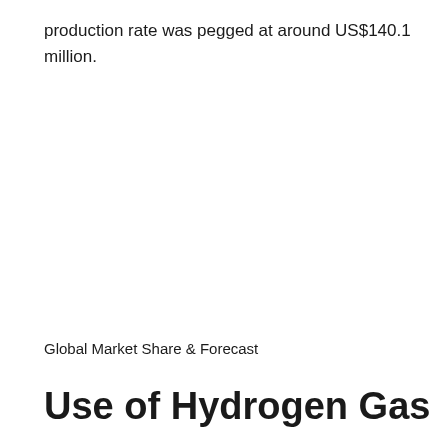production rate was pegged at around US$140.1 million.
Global Market Share & Forecast
Use of Hydrogen Gas